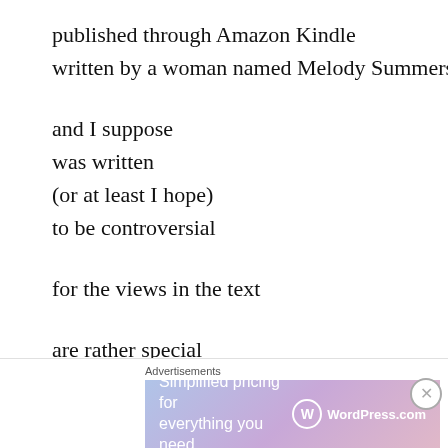published through Amazon Kindle
written by a woman named Melody Summers
and I suppose
was written
(or at least I hope)
to be controversial
for the views in the text
are rather special
Melody Summers
believes in women
finding a rich man
[Figure (other): WordPress.com advertisement banner with text 'Simplified pricing for everything you need.' and WordPress.com logo, with gradient background from blue to pink.]